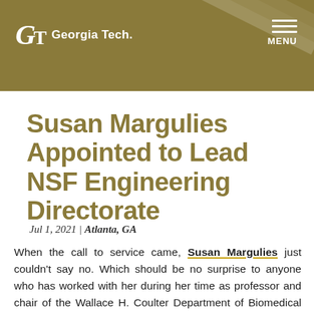Georgia Tech | MENU
Susan Margulies Appointed to Lead NSF Engineering Directorate
Jul 1, 2021 | Atlanta, GA
When the call to service came, Susan Margulies just couldn't say no. Which should be no surprise to anyone who has worked with her during her time as professor and chair of the Wallace H. Coulter Department of Biomedical Engineering at the